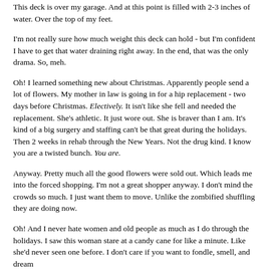This deck is over my garage. And at this point is filled with 2-3 inches of water. Over the top of my feet.
I'm not really sure how much weight this deck can hold - but I'm confident I have to get that water draining right away. In the end, that was the only drama. So, meh.
Oh! I learned something new about Christmas. Apparently people send a lot of flowers. My mother in law is going in for a hip replacement - two days before Christmas. Electively. It isn't like she fell and needed the replacement. She's athletic. It just wore out. She is braver than I am. It's kind of a big surgery and staffing can't be that great during the holidays. Then 2 weeks in rehab through the New Years. Not the drug kind. I know you are a twisted bunch. You are.
Anyway. Pretty much all the good flowers were sold out. Which leads me into the forced shopping. I'm not a great shopper anyway. I don't mind the crowds so much. I just want them to move. Unlike the zombified shuffling they are doing now.
Oh! And I never hate women and old people as much as I do through the holidays. I saw this woman stare at a candy cane for like a minute. Like she'd never seen one before. I don't care if you want to fondle, smell, and dream